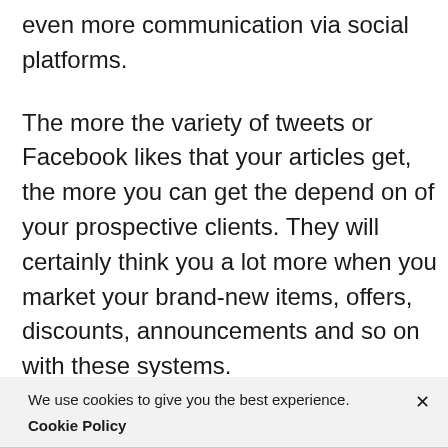even more communication via social platforms.
The more the variety of tweets or Facebook likes that your articles get, the more you can get the depend on of your prospective clients. They will certainly think you a lot more when you market your brand-new items, offers, discounts, announcements and so on with these systems.
We use cookies to give you the best experience. Cookie Policy